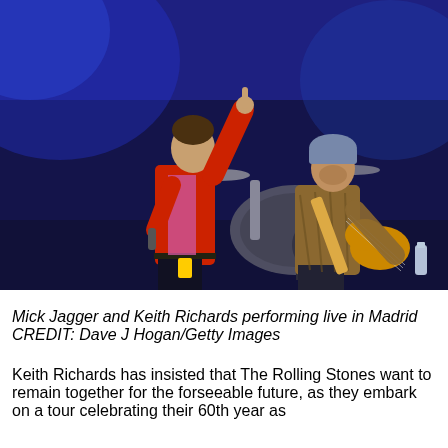[Figure (photo): Mick Jagger and Keith Richards performing live on stage in Madrid. Mick Jagger is in a red jacket with his right arm raised and finger pointing up, holding a microphone. Keith Richards is on the right wearing a brown patterned jacket and a blue hat, playing a guitar. A drum kit is visible in the background on a dark blue-lit stage.]
Mick Jagger and Keith Richards performing live in Madrid CREDIT: Dave J Hogan/Getty Images
Keith Richards has insisted that The Rolling Stones want to remain together for the forseeable future, as they embark on a tour celebrating their 60th year as